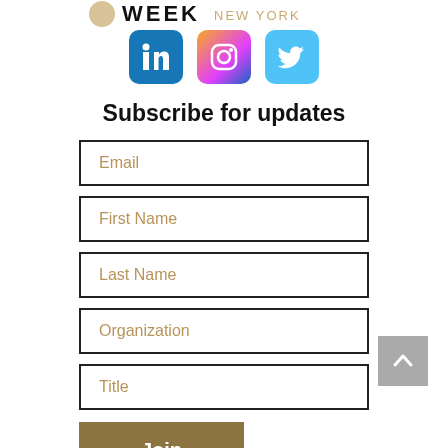[Figure (logo): Partial logo with WEEK NEW YORK text in gold/black]
[Figure (illustration): Social media icons: LinkedIn (blue), Instagram (gradient), Twitter (light blue)]
Subscribe for updates
Email
First Name
Last Name
Organization
Title
Join